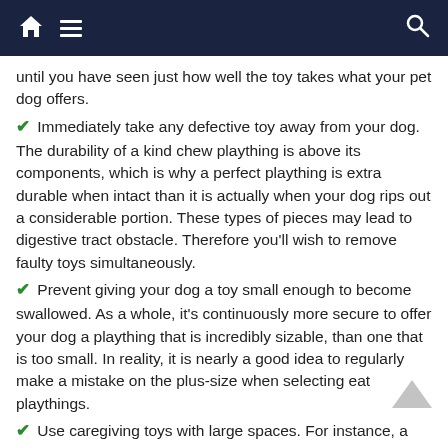Navigation bar with home, menu, and search icons
until you have seen just how well the toy takes what your pet dog offers.
✔ Immediately take any defective toy away from your dog. The durability of a kind chew plaything is above its components, which is why a perfect plaything is extra durable when intact than it is actually when your dog rips out a considerable portion. These types of pieces may lead to digestive tract obstacle. Therefore you'll wish to remove faulty toys simultaneously.
✔ Prevent giving your dog a toy small enough to become swallowed. As a whole, it's continuously more secure to offer your dog a plaything that is incredibly sizable, than one that is too small. In reality, it is nearly a good idea to regularly make a mistake on the plus-size when selecting eat playthings.
✔ Use caregiving toys with large spaces. For instance, a number of the ring-style toys may accommodate over your pet's muzzle. While this might certainly not cause any severe problems by